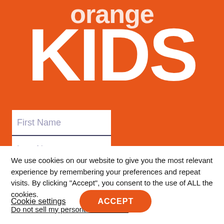[Figure (logo): Orange Kids logo — word 'orange' in white on orange background above large white bold 'KIDS' text on orange background]
First Name
Last Name
We use cookies on our website to give you the most relevant experience by remembering your preferences and repeat visits. By clicking “Accept”, you consent to the use of ALL the cookies.
Do not sell my personal information.
Cookie settings
ACCEPT